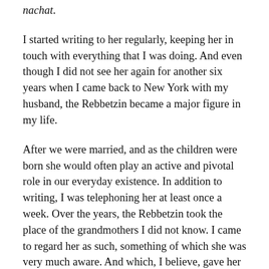gained a new …… it gave her immense nachat.
I started writing to her regularly, keeping her in touch with everything that I was doing. And even though I did not see her again for another six years when I came back to New York with my husband, the Rebbetzin became a major figure in my life.
After we were married, and as the children were born she would often play an active and pivotal role in our everyday existence. In addition to writing, I was telephoning her at least once a week. Over the years, the Rebbetzin took the place of the grandmothers I did not know. I came to regard her as such, something of which she was very much aware. And which, I believe, gave her very much pleasure.
Although she was very emotionally…